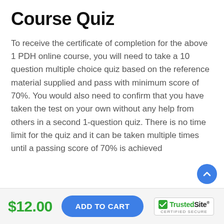Course Quiz
To receive the certificate of completion for the above 1 PDH online course, you will need to take a 10 question multiple choice quiz based on the reference material supplied and pass with minimum score of 70%. You would also need to confirm that you have taken the test on your own without any help from others in a second 1-question quiz. There is no time limit for the quiz and it can be taken multiple times until a passing score of 70% is achieved
$12.00
ADD TO CART
[Figure (logo): TrustedSite CERTIFIED SECURE badge with green checkmark]